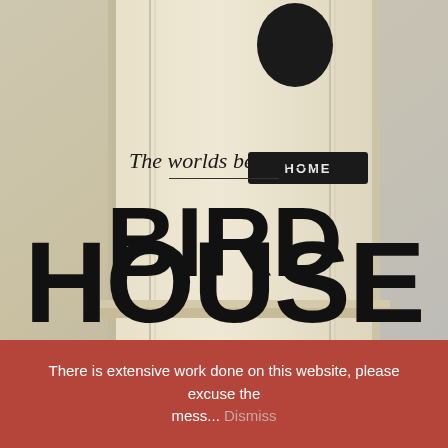[Figure (photo): A close-up photograph of a cream/beige painted wooden birdhouse with a round entry hole at the top and a small black rectangular 'HOME' label tag on its front. The birdhouse is set against a light gray background.]
The worlds best ever:
BIRD HOUSE
There is extensive work done on this website, please excuse the mess... Dismiss